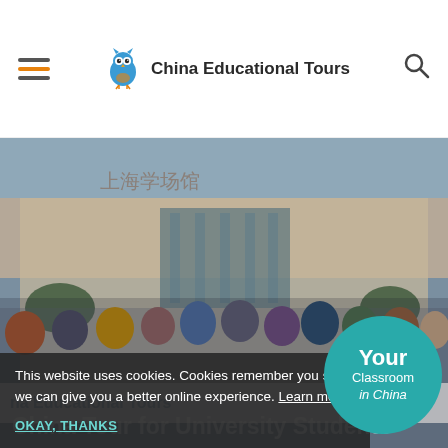China Educational Tours
[Figure (photo): Group of university students standing in front of a large building in China, holding a China Educational Tours banner. The banner reads 'China Educational Tours'. A teal circle overlay reads 'Your Classroom in China'.]
This website uses cookies. Cookies remember you so we can give you a better online experience. Learn more
OKAY, THANKS
China Tour for University Students